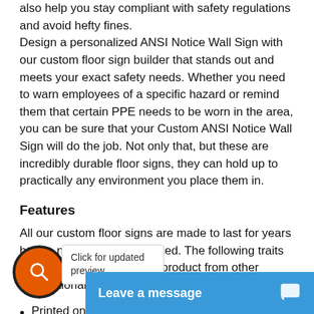also help you stay compliant with safety regulations and avoid hefty fines. Design a personalized ANSI Notice Wall Sign with our custom floor sign builder that stands out and meets your exact safety needs. Whether you need to warn employees of a specific hazard or remind them that certain PPE needs to be worn in the area, you can be sure that your Custom ANSI Notice Wall Sign will do the job. Not only that, but these are incredibly durable floor signs, they can hold up to practically any environment you place them in.
Features
All our custom floor signs are made to last for years before needing to be replaced. The following traits are what distinguishes our product from other occupational safety signs on the market:
Printed on industrial-grade vinyl
Low-profile material that can withstand industrial environments
Peel-&-stick installation
Can be painted
Both chemical and wa...